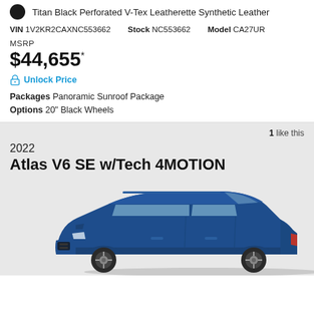Titan Black Perforated V-Tex Leatherette Synthetic Leather
VIN 1V2KR2CAXNC553662   Stock NC553662   Model CA27UR
MSRP
$44,655*
Unlock Price
Packages Panoramic Sunroof Package
Options 20" Black Wheels
1 like this
2022
Atlas V6 SE w/Tech 4MOTION
[Figure (photo): Blue 2022 Volkswagen Atlas V6 SE w/Tech 4MOTION SUV side profile view]